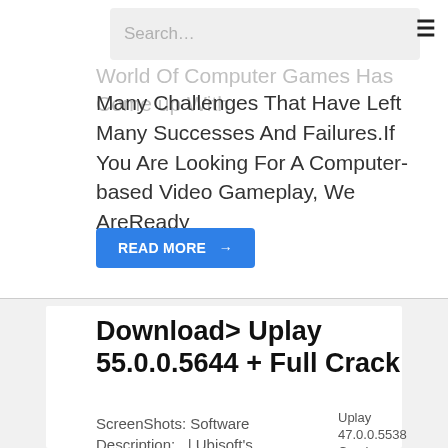Search…
World Of Computer Games Has Come up With Many Challenges That Have Left Many Successes And Failures.If You Are Looking For A Computer-based Video Gameplay, We AreReady
READ MORE →
Download> Uplay 55.0.0.5644 + Full Crack
ScreenShots: Software Description:  | Ubisoft's
[Figure (screenshot): Uplay 47.0.0.5538 Crack image placeholder]